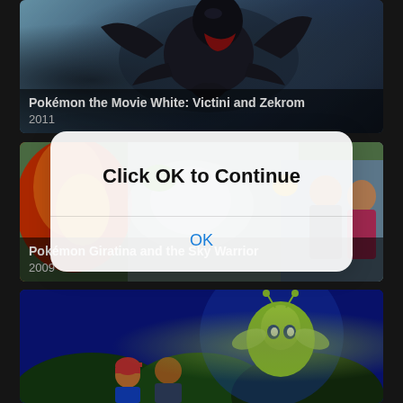[Figure (screenshot): Pokémon movie listing card showing Zekrom (dark dragon Pokémon) against a blue-grey sky background]
Pokémon the Movie White: Victini and Zekrom
2011
[Figure (screenshot): Pokémon movie listing card showing Giratina and the Sky Warrior with colorful cast of characters]
Pokémon Giratina and the Sky Warrior
2009
[Figure (screenshot): Pokémon movie listing showing Celebi (green fairy Pokémon) with Ash and Brock in a forest/underwater scene]
[Figure (screenshot): Modal dialog box overlay on the app screen]
Click OK to Continue
OK